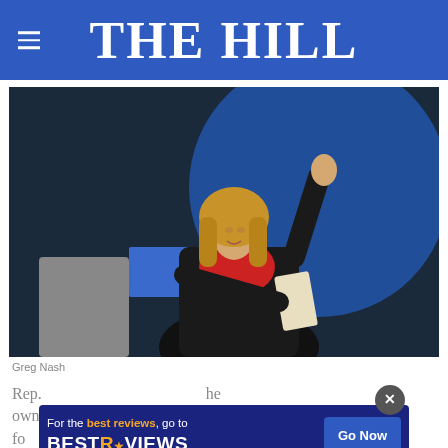THE HILL
[Figure (photo): A blonde woman in a black blazer and red top, waving with one hand and holding papers under her arm, standing at a podium. Background shows blue and white design elements.]
Greg Nash
Rep. [obscured by ad] the owner[obscured] day for [obscured]
[Figure (infographic): Advertisement banner: 'For the best reviews, go to BESTREVIEWS' with a 'Go Now' button on blue background. A close (X) button appears above the ad.]